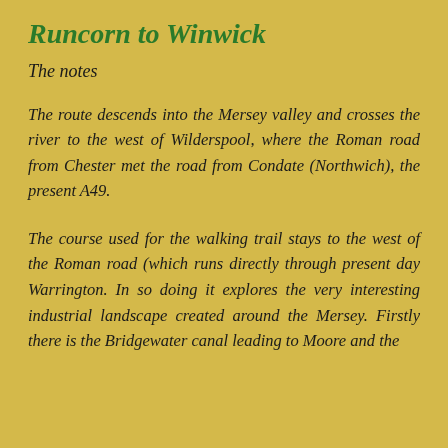Runcorn to Winwick
The notes
The route descends into the Mersey valley and crosses the river to the west of Wilderspool, where the Roman road from Chester met the road from Condate (Northwich), the present A49.
The course used for the walking trail stays to the west of the Roman road (which runs directly through present day Warrington. In so doing it explores the very interesting industrial landscape created around the Mersey. Firstly there is the Bridgewater canal leading to Moore and the